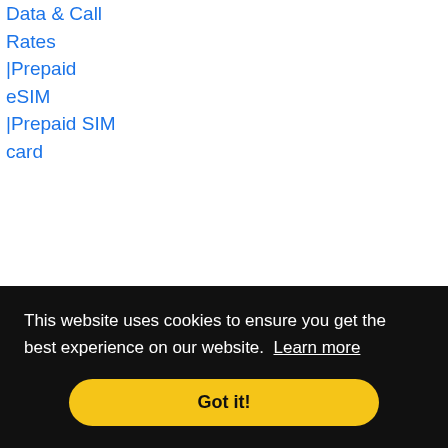Data & Call Rates |Prepaid eSIM |Prepaid SIM card
| Country | Provider | Code |
| --- | --- | --- |
| Ukraine ISP | Prepaid Data & Call Rates |Prepaid | UKRAINE MOBILE - TRIMOB | 255/007 |
This website uses cookies to ensure you get the best experience on our website. Learn more
Got it!
255/001
Data & Call